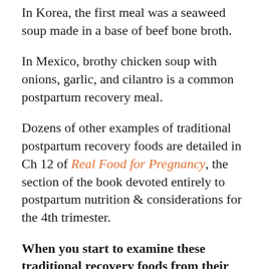In Korea, the first meal was a seaweed soup made in a base of beef bone broth.
In Mexico, brothy chicken soup with onions, garlic, and cilantro is a common postpartum recovery meal.
Dozens of other examples of traditional postpartum recovery foods are detailed in Ch 12 of Real Food for Pregnancy, the section of the book devoted entirely to postpartum nutrition & considerations for the 4th trimester.
When you start to examine these traditional recovery foods from their micronutrient content, you can see why